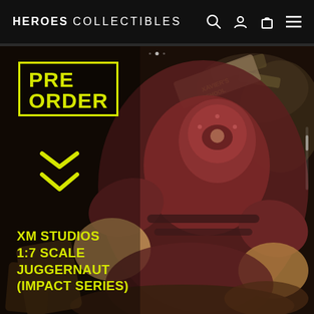HEROES COLLECTIBLES
[Figure (photo): Product photo of XM Studios 1:7 scale Juggernaut (Impact Series) collectible figure. The figure shows Juggernaut in a dark reddish-brown costume in a dynamic impact pose. Background shows Xavier's School sign being destroyed.]
PRE ORDER
XM STUDIOS 1:7 SCALE JUGGERNAUT (IMPACT SERIES)